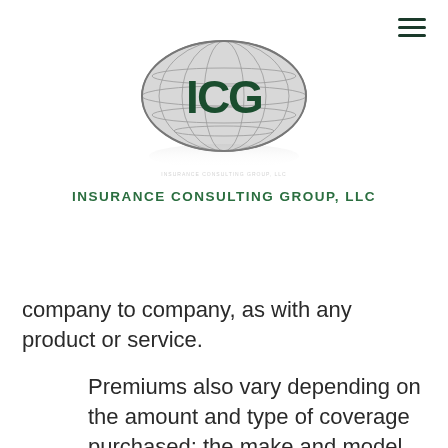[Figure (logo): ICG Insurance Consulting Group, LLC logo — globe with ICG letters in dark green, oval shape with grid lines]
INSURANCE CONSULTING GROUP, LLC
company to company, as with any product or service.
Premiums also vary depending on the amount and type of coverage purchased; the make and model of the car; and the insured's driving record, years